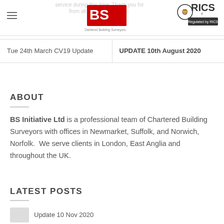service during this time. Thank you for from all our valued clients. BS Initiative Ltd
Tue 24th March CV19 Update | UPDATE 10th August 2020
ABOUT
BS Initiative Ltd is a professional team of Chartered Building Surveyors with offices in Newmarket, Suffolk, and Norwich, Norfolk.  We serve clients in London, East Anglia and throughout the UK.
LATEST POSTS
Update 10 Nov 2020